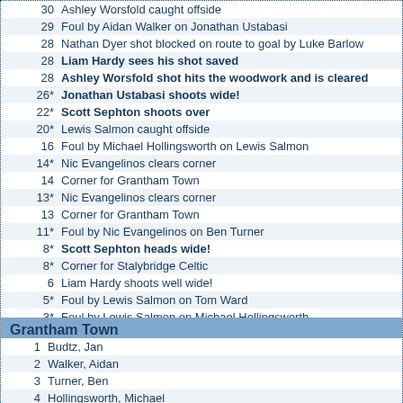| Min | Event |
| --- | --- |
| 30 | Ashley Worsfold caught offside |
| 29 | Foul by Aidan Walker on Jonathan Ustabasi |
| 28 | Nathan Dyer shot blocked on route to goal by Luke Barlow |
| 28 | Liam Hardy sees his shot saved |
| 28 | Ashley Worsfold shot hits the woodwork and is cleared |
| 26* | Jonathan Ustabasi shoots wide! |
| 22* | Scott Sephton shoots over |
| 20* | Lewis Salmon caught offside |
| 16 | Foul by Michael Hollingsworth on Lewis Salmon |
| 14* | Nic Evangelinos clears corner |
| 14 | Corner for Grantham Town |
| 13* | Nic Evangelinos clears corner |
| 13 | Corner for Grantham Town |
| 11* | Foul by Nic Evangelinos on Ben Turner |
| 8* | Scott Sephton heads wide! |
| 8* | Corner for Stalybridge Celtic |
| 6 | Liam Hardy shoots well wide! |
| 5* | Foul by Lewis Salmon on Tom Ward |
| 3* | Foul by Lewis Salmon on Michael Hollingsworth |
| 2* | Foul by Jonathan Ustabasi on Aidan Walker |
| 1 | Foul by Ryan Holland on Lewis Salmon |
| 1 | Kick off - Grantham Town |
Grantham Town
| # | Name |
| --- | --- |
| 1 | Budtz, Jan |
| 2 | Walker, Aidan |
| 3 | Turner, Ben |
| 4 | Hollingsworth, Michael |
| 5 | Ward, Tom |